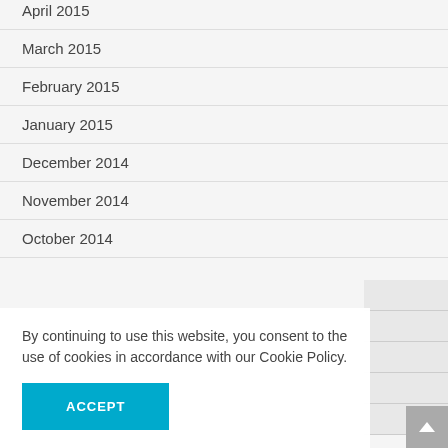April 2015
March 2015
February 2015
January 2015
December 2014
November 2014
October 2014
By continuing to use this website, you consent to the use of cookies in accordance with our Cookie Policy.
ACCEPT